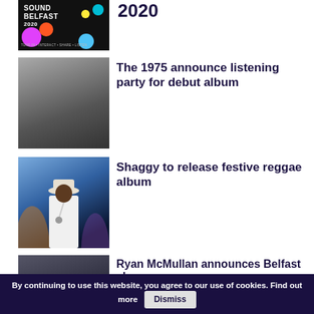[Figure (photo): Sound Belfast 2020 logo/poster image with colorful circles on dark background]
2020
[Figure (photo): The 1975 band members in black suits at an awards ceremony]
The 1975 announce listening party for debut album
[Figure (photo): Shaggy performing on stage in white outfit and hat with blue stage lighting]
Shaggy to release festive reggae album
[Figure (photo): Partial image of Ryan McMullan]
Ryan McMullan announces Belfast show,
By continuing to use this website, you agree to our use of cookies. Find out more
Dismiss